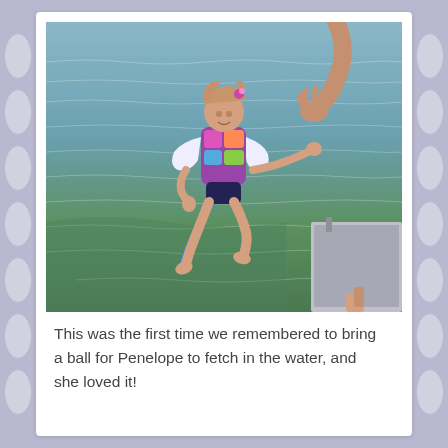[Figure (photo): A young girl in a colorful life vest jumping off a boat into a lake, with an adult's arm reaching toward her from the right. The background is greenish-blue lake water.]
This was the first time we remembered to bring a ball for Penelope to fetch in the water, and she loved it!